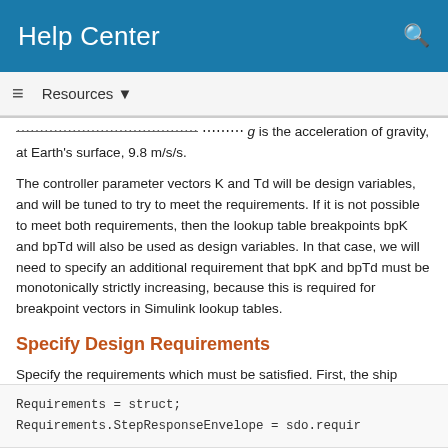Help Center
...within a bound of ±L2 g, where g is the acceleration of gravity at Earth's surface, 9.8 m/s/s.
The controller parameter vectors K and Td will be design variables, and will be tuned to try to meet the requirements. If it is not possible to meet both requirements, then the lookup table breakpoints bpK and bpTd will also be used as design variables. In that case, we will need to specify an additional requirement that bpK and bpTd must be monotonically strictly increasing, because this is required for breakpoint vectors in Simulink lookup tables.
Specify Design Requirements
Specify the requirements which must be satisfied. First, the ship should follow the reference trajectory. Since the reference is essentially a step change from 0 to 180 degrees, you specify a step response envelope for the ship heading angle.
Requirements = struct;
Requirements.StepResponseEnvelope = sdo.requir